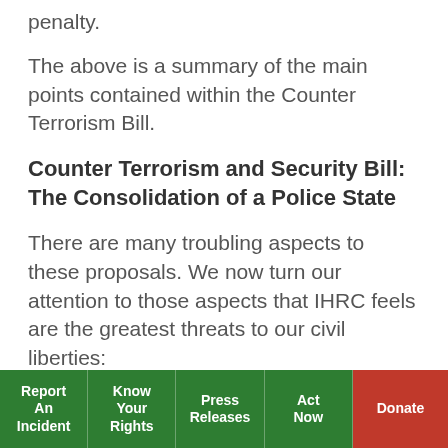penalty.
The above is a summary of the main points contained within the Counter Terrorism Bill.
Counter Terrorism and Security Bill: The Consolidation of a Police State
There are many troubling aspects to these proposals. We now turn our attention to those aspects that IHRC feels are the greatest threats to our civil liberties:
1. The setting up of local panels to prepare a plan for those at risk of radicalisation is an obvious example
Report An Incident | Know Your Rights | Press Releases | Act Now | Donate